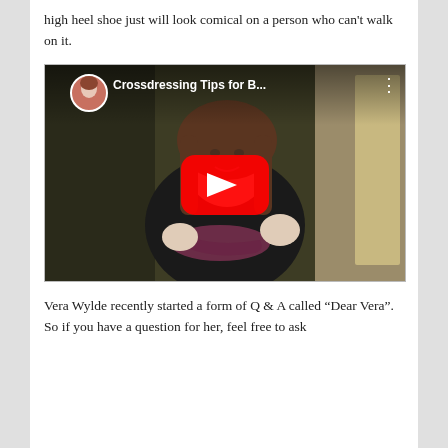high heel shoe just will look comical on a person who can't walk on it.
[Figure (screenshot): YouTube video thumbnail showing a person holding a high heel shoe, with the video title 'Crossdressing Tips for B...' and a circular avatar in the top left corner. A red YouTube play button is centered on the image.]
Vera Wylde recently started a form of Q & A called “Dear Vera”.  So if you have a question for her, feel free to ask